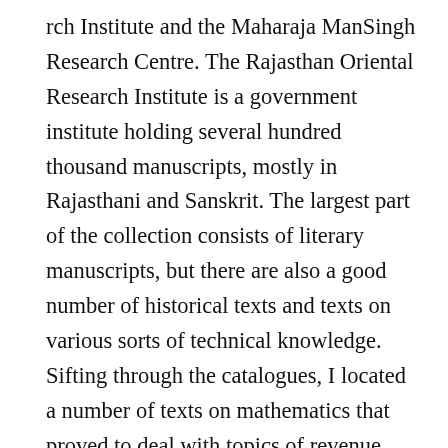rch Institute and the Maharaja ManSingh Research Centre. The Rajasthan Oriental Research Institute is a government institute holding several hundred thousand manuscripts, mostly in Rajasthani and Sanskrit. The largest part of the collection consists of literary manuscripts, but there are also a good number of historical texts and texts on various sorts of technical knowledge. Sifting through the catalogues, I located a number of texts on mathematics that proved to deal with topics of revenue collection and even a couple Rajasthani texts titled 'Dastur Amal.' Several miscellanies also turned out to include transcriptions of a variety of documents, which are interesting both in terms of their contents